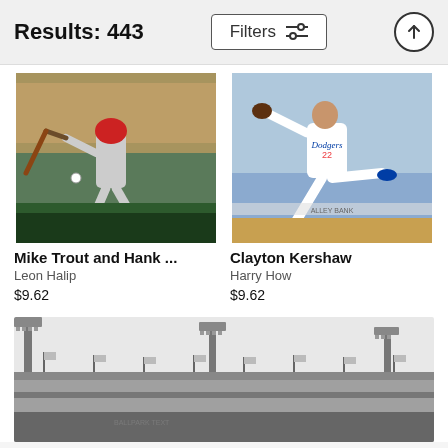Results: 443
Filters
[Figure (photo): Baseball batter (Mike Trout) swinging, wearing red helmet and grey uniform, crowd in background]
Mike Trout and Hank ...
Leon Halip
$9.62
[Figure (photo): Clayton Kershaw pitching, wearing white Dodgers uniform with number 22, mid-pitch stance]
Clayton Kershaw
Harry How
$9.62
[Figure (photo): Black and white photo of a baseball stadium exterior with floodlight towers and flags along the facade]